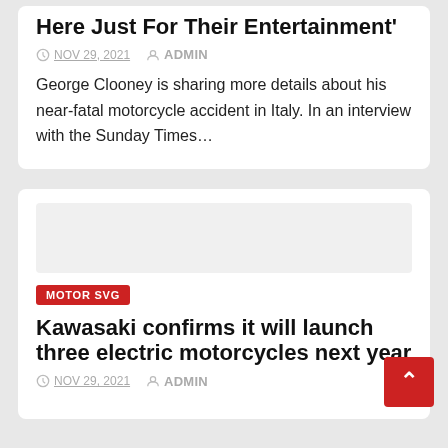Here Just For Their Entertainment'
NOV 29, 2021   ADMIN
George Clooney is sharing more details about his near-fatal motorcycle accident in Italy. In an interview with the Sunday Times…
MOTOR SVG
Kawasaki confirms it will launch three electric motorcycles next year
NOV 29, 2021   ADMIN